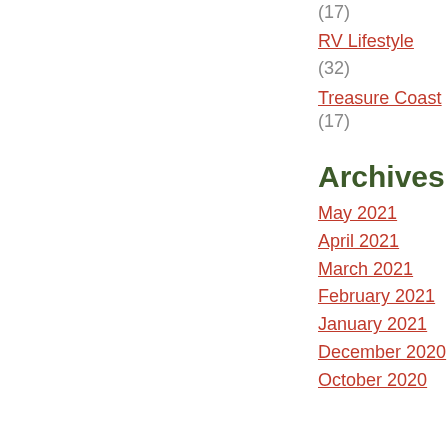(17)
RV Lifestyle
(32)
Treasure Coast (17)
Archives
May 2021
April 2021
March 2021
February 2021
January 2021
December 2020
October 2020